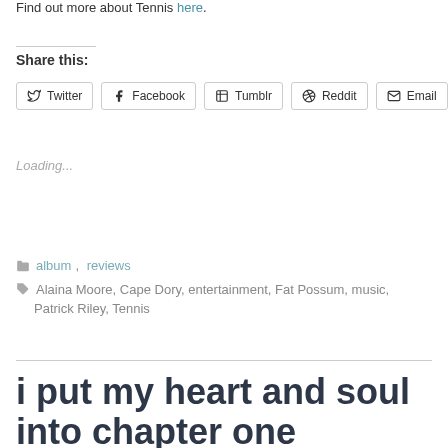Find out more about Tennis here.
Share this:
Twitter Facebook Tumblr Reddit Email
Loading...
album, reviews
Alaina Moore, Cape Dory, entertainment, Fat Possum, music, Patrick Riley, Tennis
i put my heart and soul into chapter one